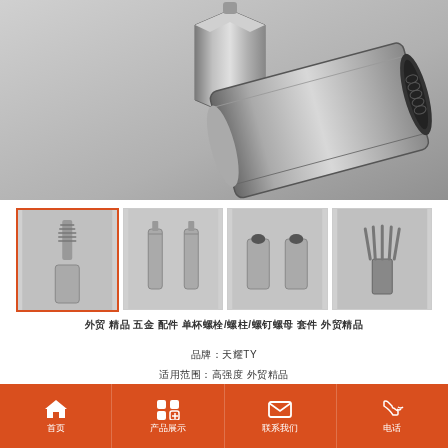[Figure (photo): Main product photo showing two hex coupling nuts (zinc/stainless) on gray background, one standing upright and one lying on its side showing threaded interior.]
[Figure (photo): Thumbnail 1 (active/selected with orange border): Small anchor bolt with threaded tip and coupling nut.]
[Figure (photo): Thumbnail 2: Two small cylindrical anchor bolts side by side.]
[Figure (photo): Thumbnail 3: Two short hex coupling nuts, hollow ends visible.]
[Figure (photo): Thumbnail 4: Metal expansion anchor with multiple split prongs.]
外贸 精品 五金 配件 单杯螺栓/螺柱/螺钉螺母 套件 外贸精品
品牌：天耀TY
适用范围：高强度 外贸精品
表面 处理方式：…
首页  产品展示  联系我们  电话